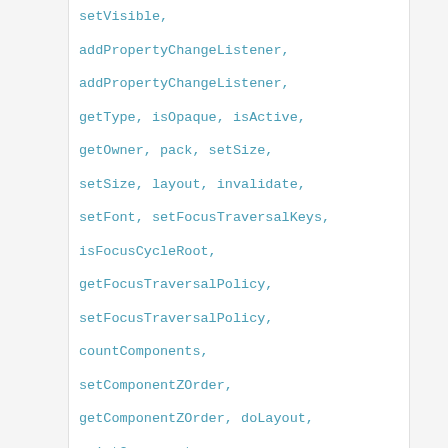setVisible,
addPropertyChangeListener,
addPropertyChangeListener,
getType, isOpaque, isActive,
getOwner, pack, setSize,
setSize, layout, invalidate,
setFont, setFocusTraversalKeys,
isFocusCycleRoot,
getFocusTraversalPolicy,
setFocusTraversalPolicy,
countComponents,
setComponentZOrder,
getComponentZOrder, doLayout,
paintComponents,